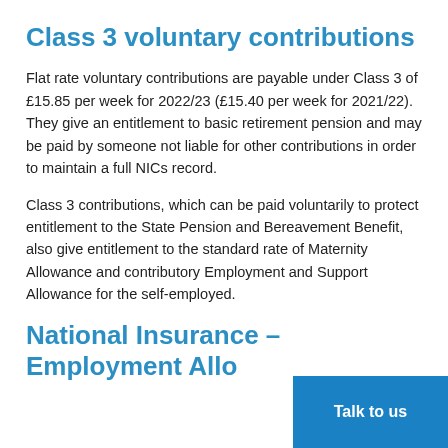Class 3 voluntary contributions
Flat rate voluntary contributions are payable under Class 3 of £15.85 per week for 2022/23 (£15.40 per week for 2021/22). They give an entitlement to basic retirement pension and may be paid by someone not liable for other contributions in order to maintain a full NICs record.
Class 3 contributions, which can be paid voluntarily to protect entitlement to the State Pension and Bereavement Benefit, also give entitlement to the standard rate of Maternity Allowance and contributory Employment and Support Allowance for the self-employed.
National Insurance – Employment Allowance